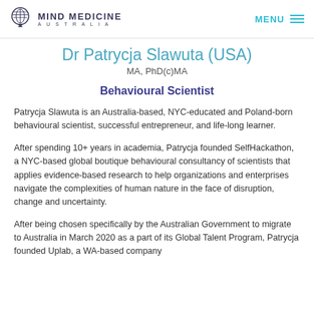MIND MEDICINE AUSTRALIA | MENU
Dr Patrycja Slawuta (USA)
MA, PhD(c)MA
Behavioural Scientist
Patrycja Slawuta is an Australia-based, NYC-educated and Poland-born behavioural scientist, successful entrepreneur, and life-long learner.
After spending 10+ years in academia, Patrycja founded SelfHackathon, a NYC-based global boutique behavioural consultancy of scientists that applies evidence-based research to help organizations and enterprises navigate the complexities of human nature in the face of disruption, change and uncertainty.
After being chosen specifically by the Australian Government to migrate to Australia in March 2020 as a part of its Global Talent Program, Patrycja founded Uplab, a WA-based company